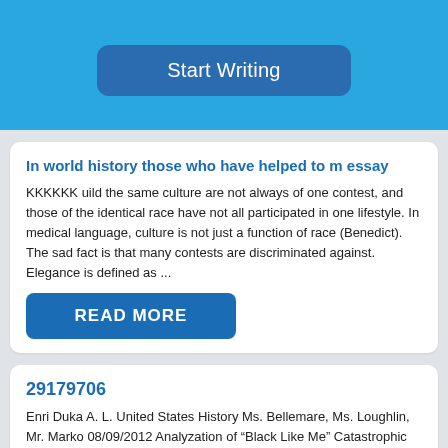[Figure (screenshot): Blue banner section with a 'Start Writing' button centered on a blue background]
In world history those who have helped to m essay
KKKKKK uild the same culture are not always of one contest, and those of the identical race have not all participated in one lifestyle. In medical language, culture is not just a function of race (Benedict). The sad fact is that many contests are discriminated against. Elegance is defined as ...
READ MORE
29179706
Enri Duka A. L. United States History Ms. Bellemare, Ms. Loughlin, Mr. Marko 08/09/2012 Analyzation of “Black Like Me” Catastrophic situations are a a part of life the same as the air that individuals breathe. A large number of catastrophes happen as a result of natural causes such as earthquakes, ...